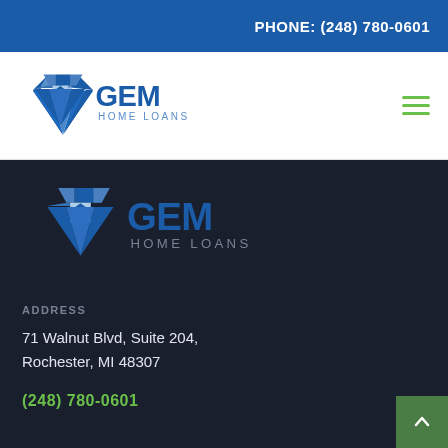PHONE: (248) 780-0601
[Figure (logo): GEM Home Loans logo in header navigation area — diamond/gem shape in blue with house icon, text GEM HOME LOANS in blue]
[Figure (logo): GEM Home Loans logo in footer — larger version, diamond/gem shape in blue with house icon, text GEM HOME LOANS in blue/gray]
ADDRESS
71 Walnut Blvd, Suite 204,
Rochester, MI 48307
(248) 780-0601